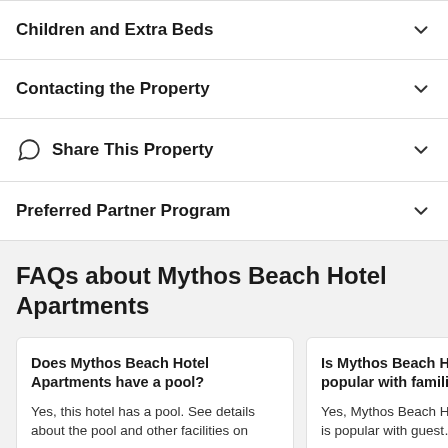Children and Extra Beds
Contacting the Property
Share This Property
Preferred Partner Program
FAQs about Mythos Beach Hotel Apartments
Does Mythos Beach Hotel Apartments have a pool?
Yes, this hotel has a pool. See details about the pool and other facilities on
Is Mythos Beach Hot... popular with families...
Yes, Mythos Beach Ho... is popular with guest...